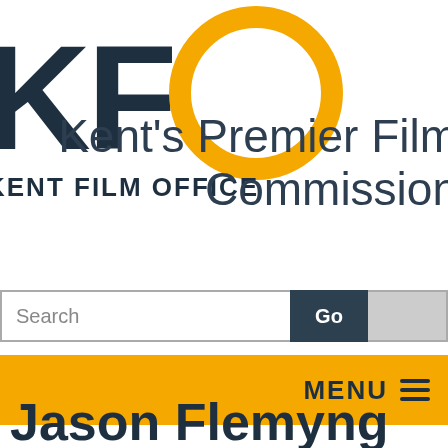[Figure (logo): KFO Kent Film Office logo with dark teal K and F letters and a gold/amber O circle, with KENT FILM OFFICE text below]
Kent's Premier Film Commission
Search
Go
MENU
Jason Flemyng